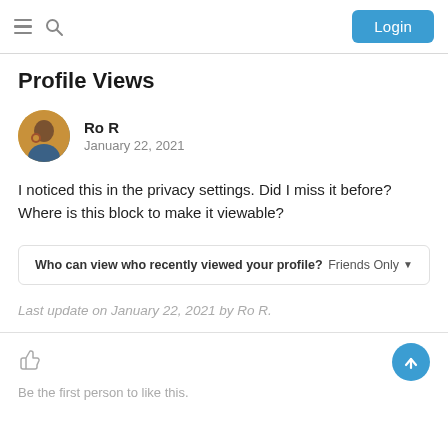Login
Profile Views
Ro R
January 22, 2021
I noticed this in the privacy settings. Did I miss it before? Where is this block to make it viewable?
[Figure (screenshot): Privacy setting screenshot showing 'Who can view who recently viewed your profile?' set to 'Friends Only']
Last update on January 22, 2021 by Ro R.
Be the first person to like this.